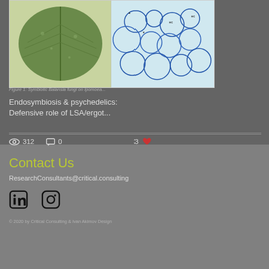[Figure (photo): Scientific figure showing a plant leaf on the left half and a microscopic cross-section image on the right half (blue-stained tissue), with partial caption text visible at the bottom reading 'Figure 1: Symbiotic Balansia fungi on Ipomoea']
Figure 1: Symbiotic Balansia fungi on Ipomoea...
Endosymbiosis & psychedelics: Defensive role of LSA/ergot...
312  0  3
Contact Us
ResearchConsultants@critical.consulting
[Figure (logo): LinkedIn and Instagram social media icons]
© 2020 by Critical Consulting & Ivan Akimov Design